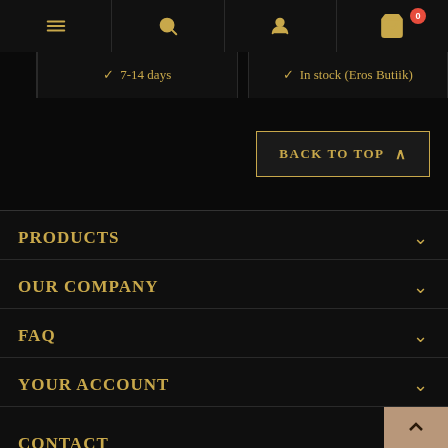Navigation bar with menu, search, account, and cart (0 items) icons
✓ 7-14 days
✓ In stock (Eros Butiik)
BACK TO TOP ∧
PRODUCTS
OUR COMPANY
FAQ
YOUR ACCOUNT
CONTACT